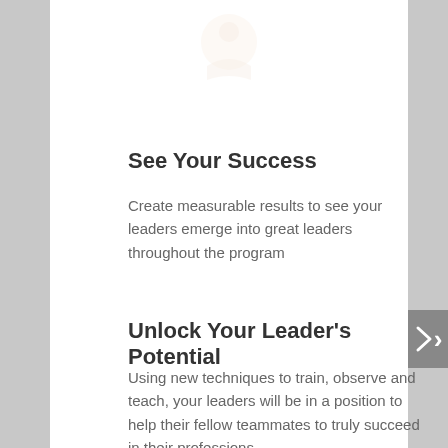[Figure (illustration): Faint decorative illustration at the top of the card, showing a light orange/beige circular icon with a person or figure motif]
See Your Success
Create measurable results to see your leaders emerge into great leaders throughout the program
Unlock Your Leader's Potential
Using new techniques to train, observe and teach, your leaders will be in a position to help their fellow teammates to truly succeed in their professions.